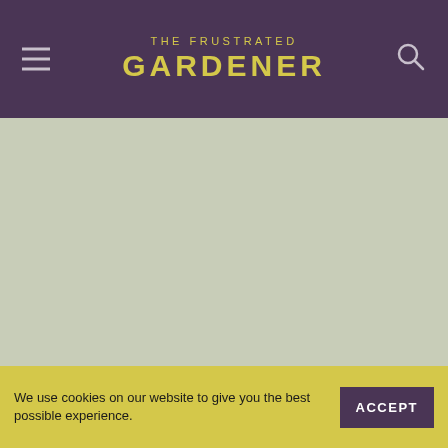THE FRUSTRATED GARDENER
[Figure (photo): Large image area with muted sage/grey-green background color, appearing to be a placeholder or partially loaded photograph]
Whilst I was languishing in bed, my energy levels at all-time low, The Beau was still up and about, sending me photographs from his daily dog walks around Rosudgeon and Perranuthnoe.
We use cookies on our website to give you the best possible experience.